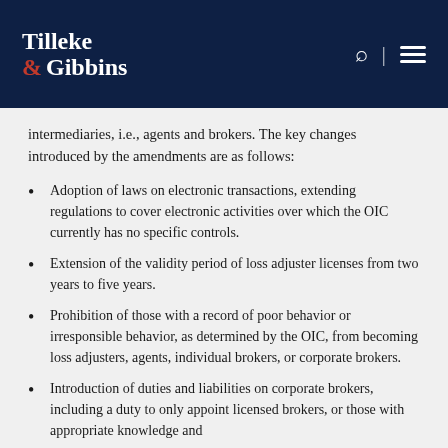Tilleke & Gibbins
intermediaries, i.e., agents and brokers. The key changes introduced by the amendments are as follows:
Adoption of laws on electronic transactions, extending regulations to cover electronic activities over which the OIC currently has no specific controls.
Extension of the validity period of loss adjuster licenses from two years to five years.
Prohibition of those with a record of poor behavior or irresponsible behavior, as determined by the OIC, from becoming loss adjusters, agents, individual brokers, or corporate brokers.
Introduction of duties and liabilities on corporate brokers, including a duty to only appoint licensed brokers, or those with appropriate knowledge and